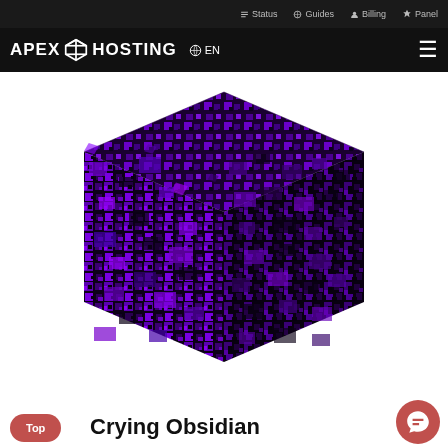Status  Guides  Billing  Panel
APEX HOSTING  EN
[Figure (illustration): 3D pixel-art Minecraft crying obsidian block rendered in dark purple and black tones on white background]
Crying Obsidian